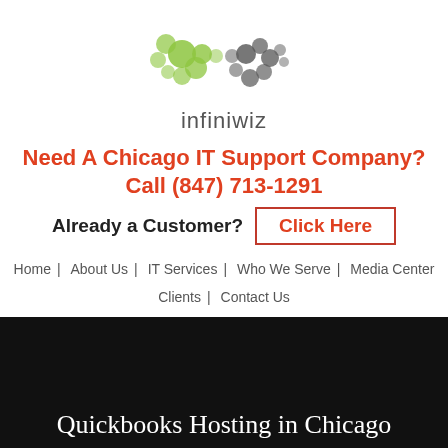[Figure (logo): Infiniwiz logo: infinity symbol made of green and dark gray circles, with the text 'infiniwiz' below in gray]
Need A Chicago IT Support Company? Call (847) 713-1291
Already a Customer?  Click Here
Home  |  About Us  |  IT Services  |  Who We Serve  |  Media Center  |  Clients  |  Contact Us
Quickbooks Hosting in Chicago
Finding The Perfect Chicago